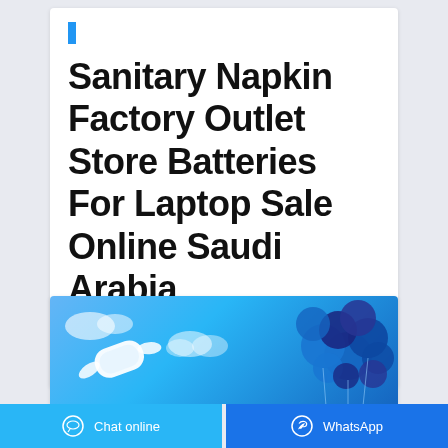Sanitary Napkin Factory Outlet Store Batteries For Laptop Sale Online Saudi Arabia
WhatsApp
Online consultation
[Figure (illustration): Banner image showing a sanitary napkin on the left against a light blue sky background, and blue balloons clustered on the right side]
Chat online   WhatsApp